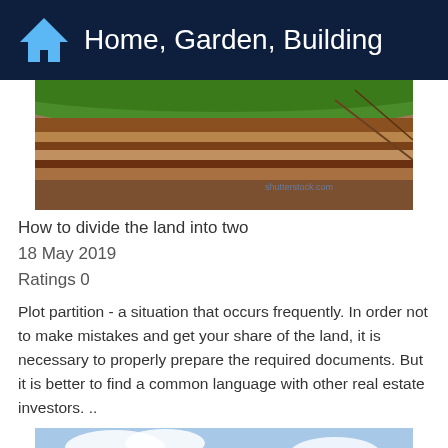Home, Garden, Building
[Figure (photo): Cross-section of soil layers with green grass on top, showing geological strata in brown and orange tones]
How to divide the land into two
18 May 2019
Ratings 0
Plot partition - a situation that occurs frequently. In order not to make mistakes and get your share of the land, it is necessary to properly prepare the required documents. But it is better to find a common language with other real estate investors. ..
[Figure (photo): Person looking through binoculars against a sky and mountain background]